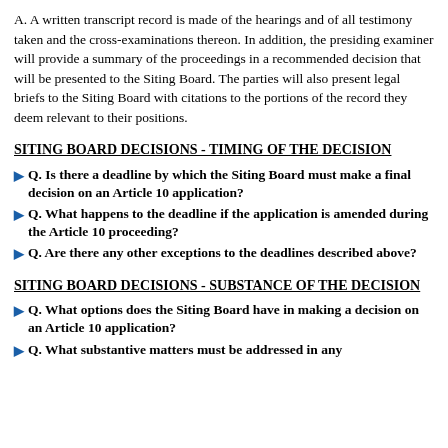A. A written transcript record is made of the hearings and of all testimony taken and the cross-examinations thereon. In addition, the presiding examiner will provide a summary of the proceedings in a recommended decision that will be presented to the Siting Board. The parties will also present legal briefs to the Siting Board with citations to the portions of the record they deem relevant to their positions.
SITING BOARD DECISIONS - TIMING OF THE DECISION
Q. Is there a deadline by which the Siting Board must make a final decision on an Article 10 application?
Q. What happens to the deadline if the application is amended during the Article 10 proceeding?
Q. Are there any other exceptions to the deadlines described above?
SITING BOARD DECISIONS - SUBSTANCE OF THE DECISION
Q. What options does the Siting Board have in making a decision on an Article 10 application?
Q. What substantive matters must be addressed in any